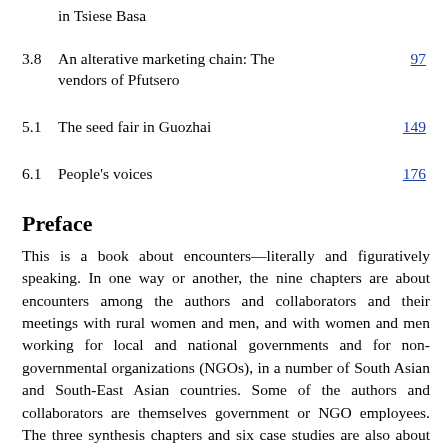in Tsiese Basa
3.8  An alterative marketing chain: The vendors of Pfutsero  97
5.1  The seed fair in Guozhai  149
6.1  People's voices  176
Preface
This is a book about encounters—literally and figuratively speaking. In one way or another, the nine chapters are about encounters among the authors and collaborators and their meetings with rural women and men, and with women and men working for local and national governments and for non-governmental organizations (NGOs), in a number of South Asian and South-East Asian countries. Some of the authors and collaborators are themselves government or NGO employees. The three synthesis chapters and six case studies are also about attempts to create interfaces between the natural sciences and the social sciences